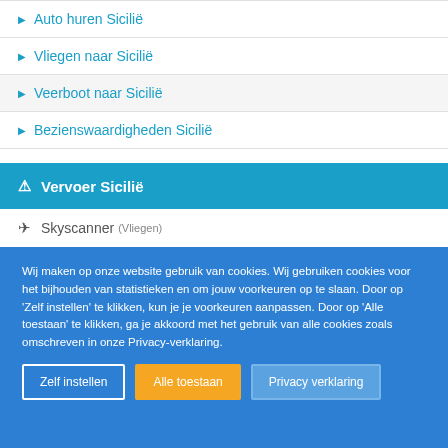▶ Auto huren Sicilië
▶ Vliegen naar Sicilië
▶ Veerboot naar Sicilië
▶ Bezienswaardigheden Sicilië
🏷 Vervoer Sicilië
✈ Skyscanner (Vliegen)
🚗 Sunny Cars (Autohuur)
Wij maken op onze website gebruik van cookies. Wij gebruiken cookies voor het bijhouden van statistieken en om jouw voorkeuren op te slaan. Door op 'Zelf instellen' te klikken, kun je je voorkeuren aanpassen. Door op 'Alle toestaan' te klikken, ga je akkoord met het gebruik van alle cookies zoals omschreven in onze Privacy-verklaring.
Zelf instellen | Alle toestaan | Privacy verklaring